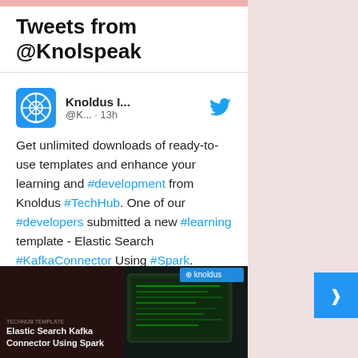Tweets from @Knolspeak
Knoldus I... @K... · 13h
Get unlimited downloads of ready-to-use templates and enhance your learning and #development from Knoldus #TechHub. One of our #developers submitted a new #learning template - Elastic Search #KafkaConnector Using #Spark. Download to learn more about it. lnkd.in/dkSVEz22
[Figure (photo): Knoldus TechHub thumbnail image showing Elastic Search Kafka Connector Using Spark template cover with green code on screen background]